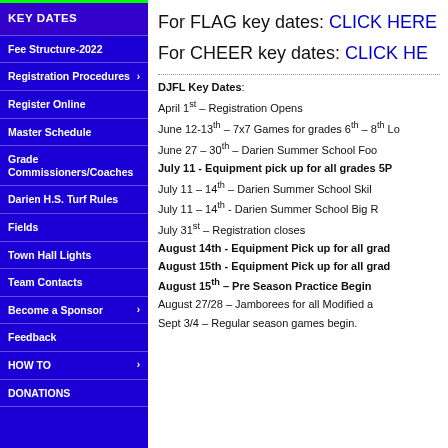KEY DATES
Fee Structure-2022
Registration Procedures
Register Online
Master Schedule
Grade Commissioners/Coaches
Darien H.S. Turf Rules
Fields
Town Hall Lights
Team Contacts
Become a Sponsor
Feedback
HOW TO
DONATIONS
For FLAG key dates: CLICK HERE
For CHEER key dates: CLICK HERE
DJFL Key Dates:
April 1st – Registration Opens
June 12-13th – 7x7 Games for grades 6th – 8th Lo...
June 27 – 30th – Darien Summer School Foo...
July 11 - Equipment pick up for all grades 5P...
July 11 – 14th – Darien Summer School Skil...
July 11 – 14th - Darien Summer School Big R...
July 31st – Registration closes
August 14th - Equipment Pick up for all grad...
August 15th - Equipment Pick up for all grad...
August 15th – Pre Season Practice Begin...
August 27/28 – Jamborees for all Modified a...
Sept 3/4 – Regular season games begin.